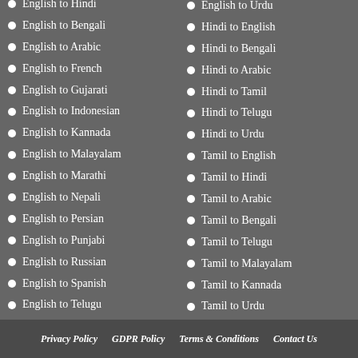English to Hindi
English to Urdu
English to Bengali
Hindi to English
English to Arabic
Hindi to Bengali
English to French
Hindi to Arabic
English to Gujarati
Hindi to Tamil
English to Indonesian
Hindi to Telugu
English to Kannada
Hindi to Urdu
English to Malayalam
Tamil to English
English to Marathi
Tamil to Hindi
English to Nepali
Tamil to Arabic
English to Persian
Tamil to Bengali
English to Punjabi
Tamil to Telugu
English to Russian
Tamil to Malayalam
English to Spanish
Tamil to Kannada
English to Telugu
Tamil to Urdu
Privacy Policy   GDPR Policy   Terms & Conditions   Contact Us